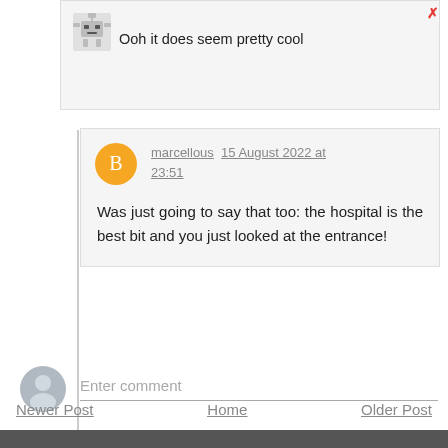Ooh it does seem pretty cool
marcellous 15 August 2022 at 23:51
Was just going to say that too: the hospital is the best bit and you just looked at the entrance!
Enter comment
Newer Post   Home   Older Post